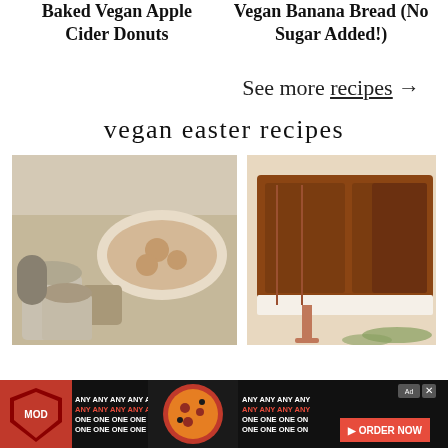Baked Vegan Apple Cider Donuts
Vegan Banana Bread (No Sugar Added!)
See more recipes →
vegan easter recipes
[Figure (photo): Photo of cinnamon rolls in a baking dish with coffee cups, on a white background]
[Figure (photo): Photo of sliced vegan meatloaf or similar baked loaf on a plate with herbs]
[Figure (photo): Advertisement banner for MOD Pizza with pizza image and ORDER NOW button]